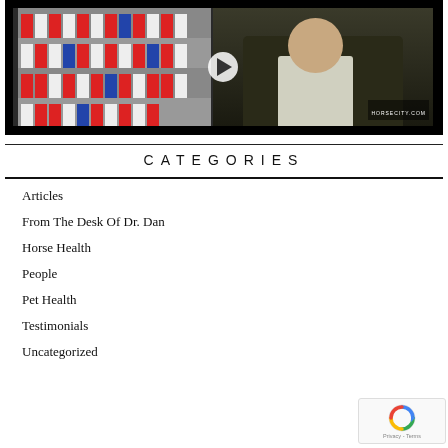[Figure (screenshot): Video thumbnail showing a man in a dark jacket standing in front of product shelves, with a play button overlay. Watermark reads HORSECITY.COM.]
CATEGORIES
Articles
From The Desk Of Dr. Dan
Horse Health
People
Pet Health
Testimonials
Uncategorized